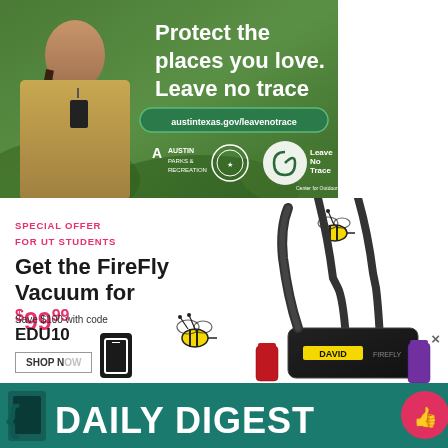[Figure (photo): Austin Parks & Recreation advertisement showing a park ranger smiling, with text 'Protect the places you love. Leave no trace' and URL austintexas.gov/leavenotrace, with Austin Parks & Recreation and Leave No Trace logos on a green background]
[Figure (photo): Advertisement for David FireFly Vacuum with special offer for UT Students: Get the FireFly Vacuum for $99.99. Save $100 with code EDU10. Shop now button. Image shows black vacuum cleaner with shoulder strap.]
SPECIAL OFFER FOR UT STUDENTS
Get the FireFly Vacuum for $99.99
Save $100 with code EDU10
SHOP NOW
[Figure (logo): Daily Digest banner/logo in teal green with thumbs up icon]